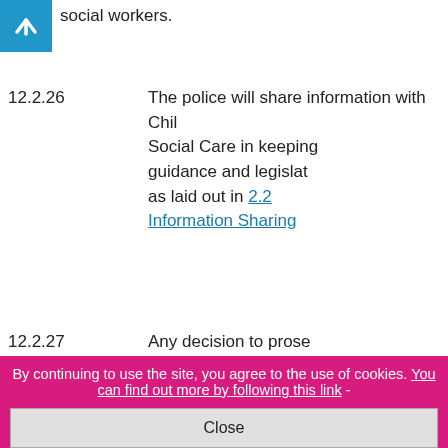social workers.
12.2.26   The police will share information with Children's Social Care in keeping with guidance and legislation as laid out in 2.2 Information Sharing
12.2.27   Any decision to prosecute will be taken in consultation with the Crown Prosecution Service and will where possible take account the views of other agencies. In all cases
By continuing to use the site, you agree to the use of cookies. You can find out more by following this link -
Close